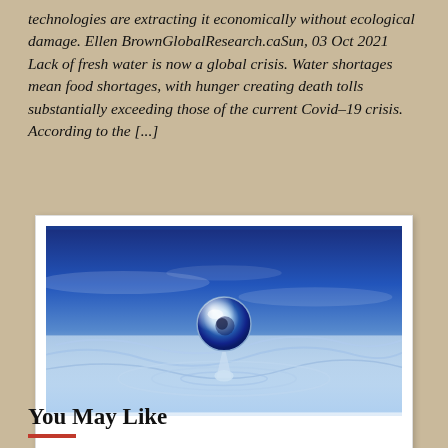technologies are extracting it economically without ecological damage. Ellen BrownGlobalResearch.caSun, 03 Oct 2021 Lack of fresh water is now a global crisis. Water shortages mean food shortages, with hunger creating death tolls substantially exceeding those of the current Covid–19 crisis. According to the [...]
[Figure (photo): Macro photograph of a single water droplet on a water surface, showing a round spherical drop reflecting blue light above rippling water, with a blue and white blurred background.]
You May Like